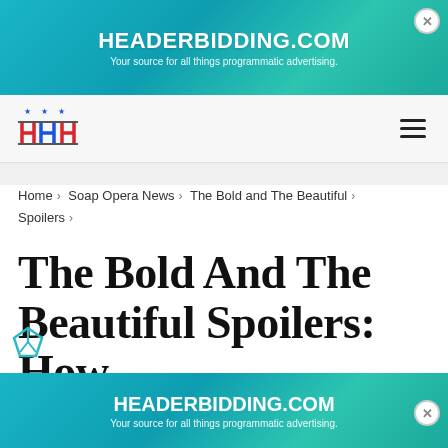[Figure (screenshot): Top advertisement banner for HEADERBIDDING.COM with teal gradient background. Text: HEADERBIDDING.COM / Your source for all things programmatic advertising.]
[Figure (logo): HH logo with stars and red/blue coloring in navigation bar]
Home > Soap Opera News > The Bold and The Beautiful > Spoilers >
The Bold And The Beautiful Spoilers: How
[Figure (screenshot): Bottom advertisement banner for HEADERBIDDING.COM with teal gradient background. Text: HEADERBIDDING.COM / Your source for all things programmatic advertising.]